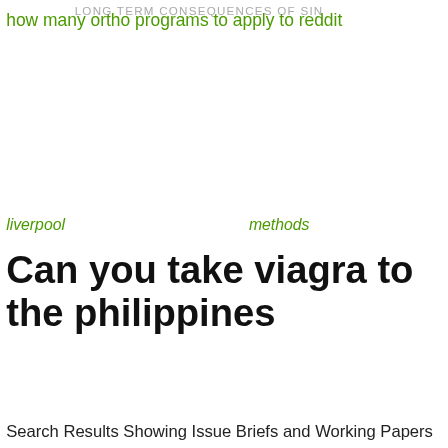LONG TERM CONSEQUENCES OF SIN
how many ortho programs to apply to reddit
liverpool
methods
Can you take viagra to the philippines
Search Results Showing Issue Briefs and Working Papers with keyword(s) "free viagra order online cheap viagra overnight buy viagra for less viagra purchase in united states name order viagra text order viagra Viagra from $0.27 per pill www.GenericDrugs.site *
vacation
rentals for
sale by